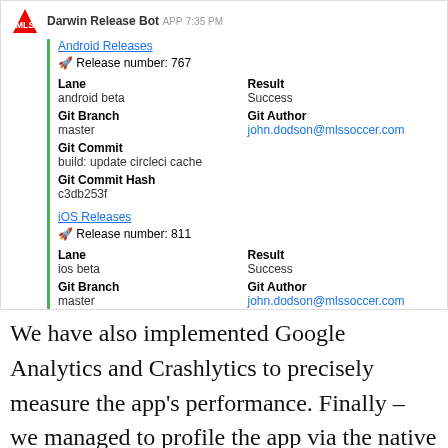[Figure (screenshot): Slack-style chat message from Darwin Release Bot showing Android Release #767 and iOS Release #811 details including lane, result, git branch, git author, git commit, and git commit hash information.]
We have also implemented Google Analytics and Crashlytics to precisely measure the app's performance. Finally – we managed to profile the app via the native IDEs, eliminate the bottlenecks and submit the app to AppStore and Google Play